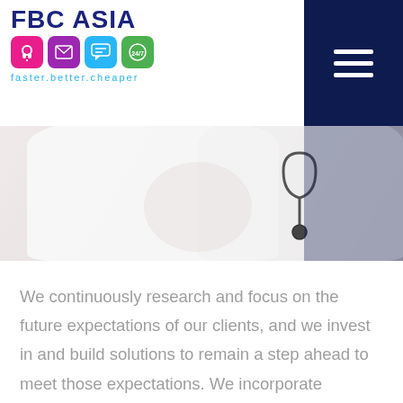[Figure (logo): FBC Asia logo with colored icons and tagline 'faster.better.cheaper']
[Figure (photo): Person in white coat/lab coat, torso view]
We continuously research and focus on the future expectations of our clients, and we invest in and build solutions to remain a step ahead to meet those expectations. We incorporate emerging technologies into our service offerings including artificial intelligence, robotics and chatbots.